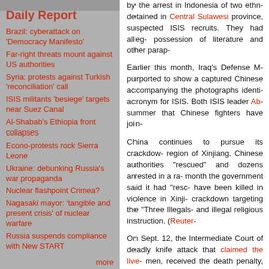Daily Report
Brazil: cyberattack on 'Democracy Manifesto'
Far-right threats mount against US authorities
Syria: protests against Turkish 'reconciliation' call
ISIS militants 'besiege' targets near Suez Canal
Al-Shabab's Ethiopia front collapses
Econo-protests rock Sierra Leone
Ukraine: debunking Russia's war propaganda
Nuclear flashpoint Crimea?
Nagasaki mayor: 'tangible and present crisis' of nuclear warfare
Russia suspends compliance with New START
more
by the arrest in Indonesia of two ethn- detained in Central Sulawesi province, suspected ISIS recruits. They had alleg- possession of literature and other parap-
Earlier this month, Iraq's Defense M- purported to show a captured Chinese accompanying the photographs identi- acronym for ISIS. Both ISIS leader Ab- summer that Chinese fighters have join-
China continues to pursue its crackdow- region of Xinjiang. Chinese authorities "rescued" and dozens arrested in a ra- month the government said it had "resc- have been killed in violence in Xinji- crackdown targeting the "Three Illegals- and illegal religious instruction. (Reuter-
On Sept. 12, the Intermediate Court of deadly knife attack that claimed the live- men, received the death penalty, whi- prison. The one-day trail lasted only a f- or Muslim names—seated in court wit- were all found guilty of "premeditated The fourth defendant, also a Uighur, w- terrorist group." None of the men on tri-